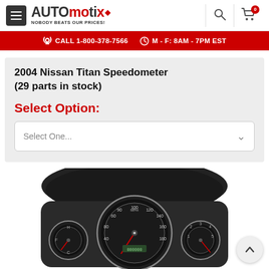AUTOmotix — NOBODY BEATS OUR PRICES!
CALL 1-800-378-7566  M - F: 8AM - 7PM EST
2004 Nissan Titan Speedometer (29 parts in stock)
Select Option:
Select One...
[Figure (photo): Photograph of a 2004 Nissan Titan Speedometer instrument cluster, showing multiple gauges including speedometer, tachometer, fuel and temperature gauges on a dark background]